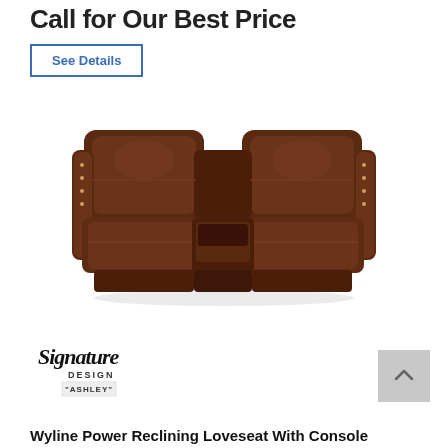Call for Our Best Price
See Details
[Figure (photo): Brown leather power reclining loveseat with center console, shown from a front-angle view. Deep dark brown upholstery with tufted seating and armrest nailhead details.]
[Figure (logo): Signature Design by Ashley logo in cursive script]
Wyline Power Reclining Loveseat With Console